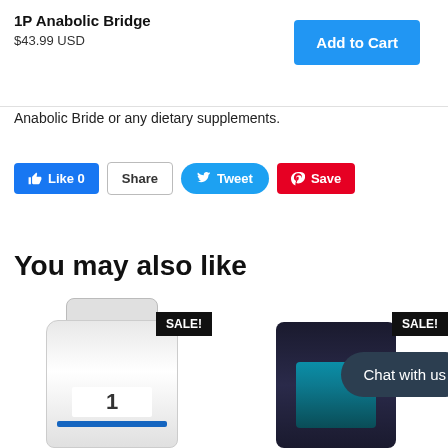1P Anabolic Bridge
$43.99 USD
Add to Cart
Anabolic Bride or any dietary supplements.
[Figure (other): Social sharing buttons: Like 0 (Facebook), Share, Tweet (Twitter), Save (Pinterest)]
You may also like
[Figure (photo): Product supplement bottle with white label and SALE! badge]
[Figure (photo): Dark supplement container with blue accent and SALE! badge, with Chat with us overlay bubble]